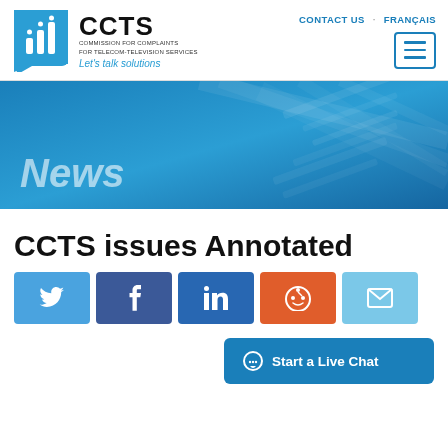[Figure (logo): CCTS Commission for Complaints for Telecom-Television Services logo with blue speech bubble icon and tagline 'Let's talk solutions']
CONTACT US   FRANÇAIS
[Figure (illustration): Blue hero banner with 'News' heading and decorative background image of papers/documents]
CCTS issues Annotated
[Figure (infographic): Social sharing buttons: Twitter, Facebook, LinkedIn, Reddit, Email]
Start a Live Chat